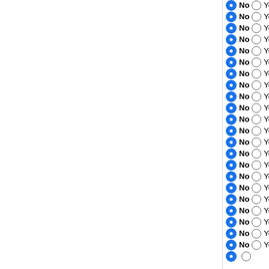No / Yes — Mycobacterium canettii CIPT
No / Yes — Mycobacterium canettii CIPT
No / Yes — Mycobacterium tuberculosis
No / Yes — Mycobacterium tuberculosis
No / Yes — Mycobacterium tuberculosis
No / Yes — Mycobacterium tuberculosis
No / Yes — Mycobacterium tuberculosis
No / Yes — Mycobacterium tuberculosis
No / Yes — Mycobacterium tuberculosis
No / Yes — Mycobacterium tuberculosis
No / Yes — Mycobacterium tuberculosis
No / Yes — Mycobacterium tuberculosis
No / Yes — Mycobacterium tuberculosis
No / Yes — Mycobacterium tuberculosis
No / Yes — Mycobacterium tuberculosis
No / Yes — Mycobacterium tuberculosis
No / Yes — Mycobacterium tuberculosis
No / Yes — Mycobacterium tuberculosis
No / Yes — Mycobacterium tuberculosis
No / Yes — Mycobacterium tuberculosis
No / Yes — Mycobacterium tuberculosis
No / Yes — Mycobacterium bovis AF212
No / Yes — Mycobacterium bovis BCG s
No / Yes — (partial)